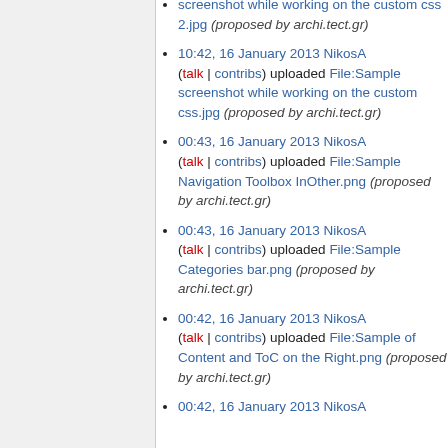10:42, 16 January 2013 NikosA (talk | contribs) uploaded File:Sample screenshot while working on the custom css.jpg (proposed by archi.tect.gr)
00:43, 16 January 2013 NikosA (talk | contribs) uploaded File:Sample Navigation Toolbox InOther.png (proposed by archi.tect.gr)
00:43, 16 January 2013 NikosA (talk | contribs) uploaded File:Sample Categories bar.png (proposed by archi.tect.gr)
00:42, 16 January 2013 NikosA (talk | contribs) uploaded File:Sample of Content and ToC on the Right.png (proposed by archi.tect.gr)
00:42, 16 January 2013 NikosA